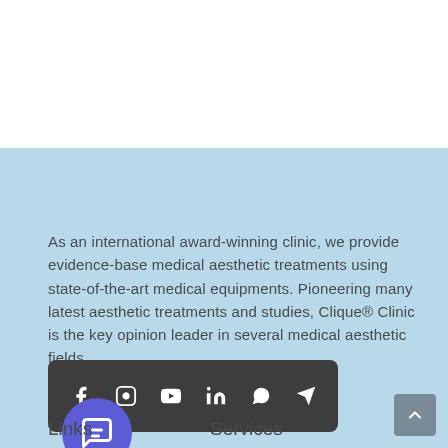As an international award-winning clinic, we provide evidence-base medical aesthetic treatments using state-of-the-art medical equipments. Pioneering many latest aesthetic treatments and studies, Clique® Clinic is the key opinion leader in several medical aesthetic fields
[Figure (infographic): Social media icon bar with Facebook, Instagram, YouTube, LinkedIn, WhatsApp, and Telegram icons on a dark background, plus a purple chat bubble button below]
Links
Services